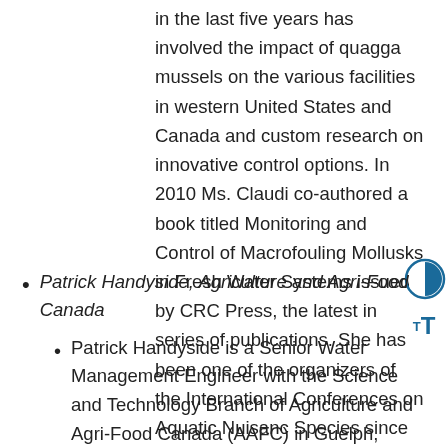in the last five years has involved the impact of quagga mussels on the various facilities in western United States and Canada and custom research on innovative control options. In 2010 Ms. Claudi co-authored a book titled Monitoring and Control of Macrofouling Mollusks in Fresh Water Systems issued by CRC Press, the latest in series of publications. She has been one of the organizers of the International Conferences on Aquatic Nuisance Species since its launch in 1990.
Patrick Handyside, Agriculture and Agri-Food Canada
Patrick Handyside is a Senior Water Management Engineer with the Science and Technology Branch of Agriculture and Agri-Food Canada (AAFC) in Guelph, Ontario. He started with AAFC in 2010 and started working with the LADII